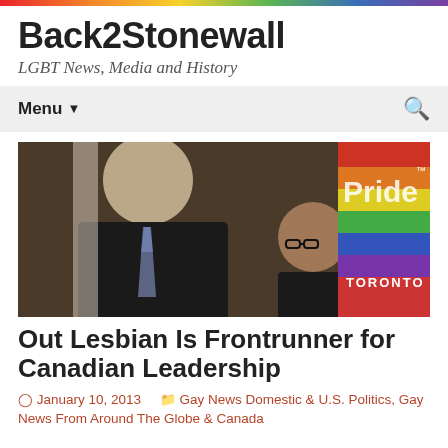Back2Stonewall
LGBT News, Media and History
Menu
[Figure (photo): Two people standing in front of a Pride Toronto banner with rainbow colors. A man in a dark suit with a striped tie is visible in profile on the left, and a woman with short brown hair and glasses is visible on the right.]
Out Lesbian Is Frontrunner for Canadian Leadership
January 10, 2013    Gay News Domestic & U.S. Politics, Gay News From Around The Globe & Canada